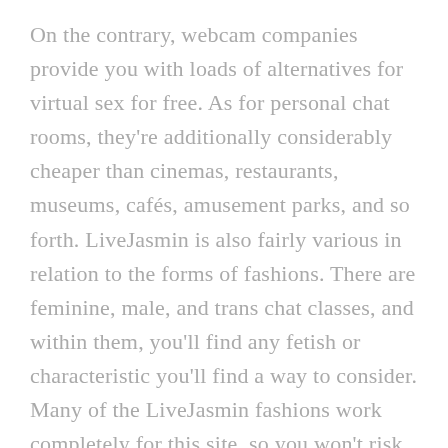On the contrary, webcam companies provide you with loads of alternatives for virtual sex for free. As for personal chat rooms, they're additionally considerably cheaper than cinemas, restaurants, museums, cafés, amusement parks, and so forth. LiveJasmin is also fairly various in relation to the forms of fashions. There are feminine, male, and trans chat classes, and within them, you'll find any fetish or characteristic you'll find a way to consider. Many of the LiveJasmin fashions work completely for this site, so you won't risk seeing a well-recognized face when you're in the temper for somebody new. LiveJasmin additionally has a pretty suggestive website design that immediately